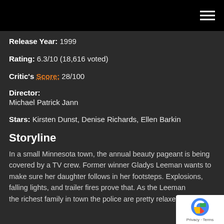Release Year: 1999
Rating: 6.3/10 (18,616 voted)
Critic's Score: 28/100
Director: Michael Patrick Jann
Stars: Kirsten Dunst, Denise Richards, Ellen Barkin
Storyline
In a small Minnesota town, the annual beauty pageant is being covered by a TV crew. Former winner Gladys Leeman wants to make sure her daughter follows in her footsteps. Explosions, falling lights, and trailer fires prove that. As the Leeman the richest family in town the police are pretty relaxed about it